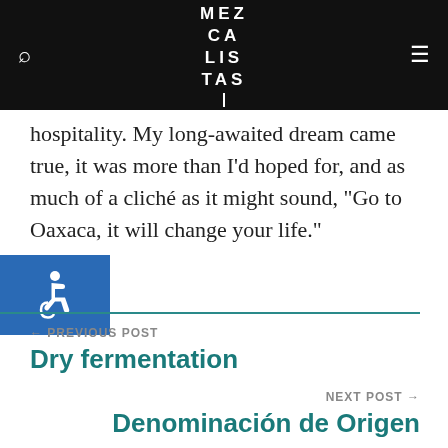MEZ CA LIS TAS
hospitality. My long-awaited dream came true, it was more than I'd hoped for, and as much of a cliché as it might sound, "Go to Oaxaca, it will change your life."
[Figure (other): Blue accessibility wheelchair icon on blue square background]
← PREVIOUS POST
Dry fermentation
NEXT POST →
Denominación de Origen
RELATED POSTS
[Figure (photo): Left photo: colorful bar with bottles lit in pink/red light]
[Figure (photo): Right photo: bare winter trees in an outdoor setting]